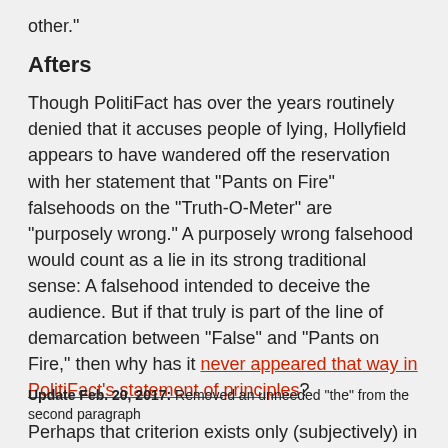other."
Afters
Though PolitiFact has over the years routinely denied that it accuses people of lying, Hollyfield appears to have wandered off the reservation with her statement that "Pants on Fire" falsehoods on the "Truth-O-Meter" are "purposely wrong." A purposely wrong falsehood would count as a lie in its strong traditional sense: A falsehood intended to deceive the audience. But if that truly is part of the line of demarcation between "False" and "Pants on Fire," then why has it never appeared that way in PolitiFact's statement of principles?
Perhaps that criterion exists only (subjectively) in Hollyfield's mind?
Update Feb. 20, 2017: Removed an unneeded "the" from the second paragraph